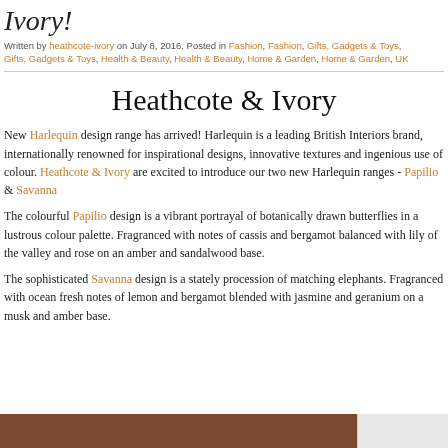Ivory!
Written by heathcote-ivory on July 8, 2016. Posted in Fashion, Fashion, Gifts, Gadgets & Toys, Gifts, Gadgets & Toys, Health & Beauty, Health & Beauty, Home & Garden, Home & Garden, UK
Heathcote & Ivory
New Harlequin design range has arrived! Harlequin is a leading British Interiors brand, internationally renowned for inspirational designs, innovative textures and ingenious use of colour. Heathcote & Ivory are excited to introduce our two new Harlequin ranges - Papilio & Savanna
The colourful Papilio design is a vibrant portrayal of botanically drawn butterflies in a lustrous colour palette. Fragranced with notes of cassis and bergamot balanced with lily of the valley and rose on an amber and sandalwood base.
The sophisticated Savanna design is a stately procession of matching elephants. Fragranced with ocean fresh notes of lemon and bergamot blended with jasmine and geranium on a musk and amber base.
[Figure (photo): Bottom strip showing a brown/tan surface on the left and a light grey panel on the right]